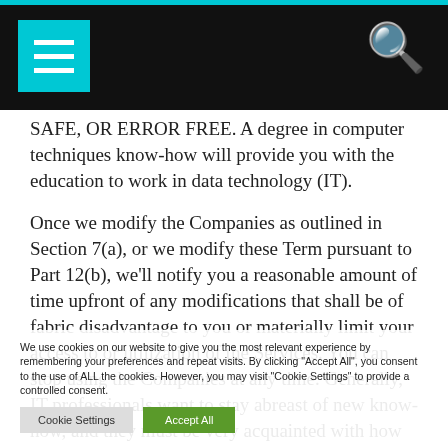[Navigation bar with menu icon and search icon]
SAFE, OR ERROR FREE. A degree in computer techniques know-how will provide you with the education to work in data technology (IT).
Once we modify the Companies as outlined in Section 7(a), or we modify these Term pursuant to Part 12(b), we'll notify you a reasonable amount of time upfront of any modifications that shall be of fabric disadvantage to you or materially limit your access to or utilization of the Services. You can stop using the Companies at any time. Generally, IT professionals want to stay abreast of new know-how, and they must be very acquainted with how you can use operating systems and server software program, including Linux, Apache, OpenSSL, Windows Server, Oracle, MySQL, and Microsoft SQL Server.
We use cookies on our website to give you the most relevant experience by remembering your preferences and repeat visits. By clicking "Accept All", you consent to the use of ALL the cookies. However, you may visit "Cookie Settings" to provide a controlled consent.